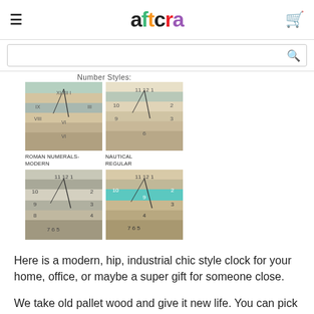aftcra
[Figure (photo): Four clock number style options displayed in a 2x2 grid: Roman Numerals-Modern (top left), Nautical Regular (top right), and two more number style clocks below. All clocks are made from distressed pallet wood with different color stripe combinations.]
Number Styles:
ROMAN NUMERALS-MODERN | NAUTICAL REGULAR
Here is a modern, hip, industrial chic style clock for your home, office, or maybe a super gift for someone close.
We take old pallet wood and give it new life. You can pick your own combination of two colors for your distressed, rustic yet modern clock.